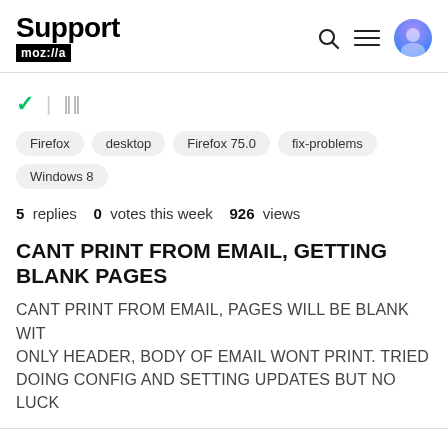Support mozilla// [search] [menu] [avatar]
Firefox
desktop
Firefox 75.0
fix-problems
Windows 8
5 replies  0 votes this week  926 views
CANT PRINT FROM EMAIL, GETTING BLANK PAGES
CANT PRINT FROM EMAIL, PAGES WILL BE BLANK WITH ONLY HEADER, BODY OF EMAIL WONT PRINT. TRIED DOING CONFIG AND SETTING UPDATES BUT NO LUCK
Asked by kurtzkristina 1 year ago
Answered by jscher2000 - Support Volunteer 1 year ago